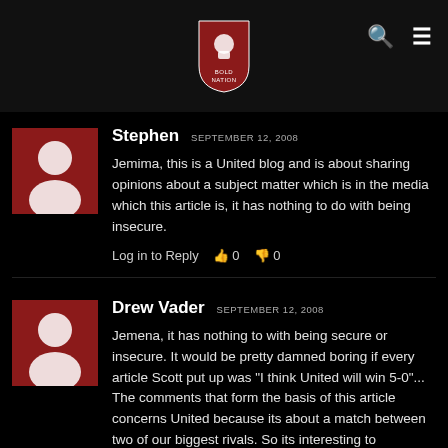Bold Nations blog header with logo, search and menu icons
Stephen  SEPTEMBER 12, 2008
Jemima, this is a United blog and is about sharing opinions about a subject matter which is in the media which this article is, it has nothing to do with being insecure.
Log in to Reply  0  0
Drew Vader  SEPTEMBER 12, 2008
Jemena, it has nothing to with being secure or insecure. It would be pretty damned boring if every article Scott put up was "I think United will win 5-0"... The comments that form the basis of this article concerns United because its about a match between two of our biggest rivals. So its interesting to